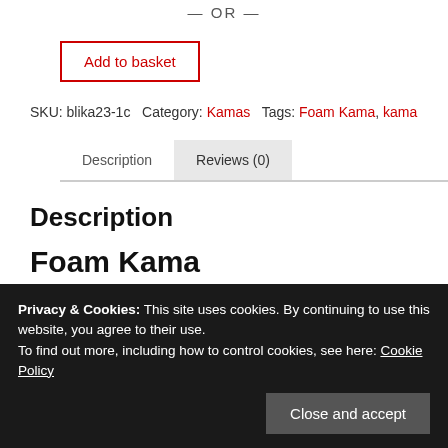— OR —
Add to basket
SKU: blika23-1c  Category: Kamas  Tags: Foam Kama, kama
Description | Reviews (0)
Description
Foam Kama
These Foam Kamas is ideal for young students, those new to
Privacy & Cookies: This site uses cookies. By continuing to use this website, you agree to their use.
To find out more, including how to control cookies, see here: Cookie Policy
Close and accept